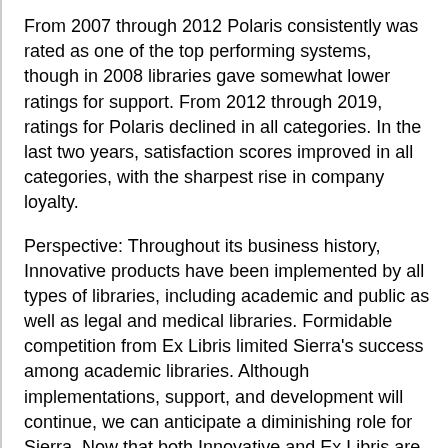From 2007 through 2012 Polaris consistently was rated as one of the top performing systems, though in 2008 libraries gave somewhat lower ratings for support. From 2012 through 2019, ratings for Polaris declined in all categories. In the last two years, satisfaction scores improved in all categories, with the sharpest rise in company loyalty.
Perspective: Throughout its business history, Innovative products have been implemented by all types of libraries, including academic and public as well as legal and medical libraries. Formidable competition from Ex Libris limited Sierra's success among academic libraries. Although implementations, support, and development will continue, we can anticipate a diminishing role for Sierra. Now that both Innovative and Ex Libris are part of ProQuest, Ex Libris will continue to expand its reach into academic and research libraries and Innovative seems positioned to focus more on public libraries, with Polaris as its flagship resource management product and Vega as its strategic discovery and patron engagement platform. These priorities seem to continue to apply now that ProQuest is part of Clarivate. This year's survey results show Polaris as well positioned as the strategic ILS within Clarivate. Polaris was rated quite highly by large and mid-sized public libraries, those